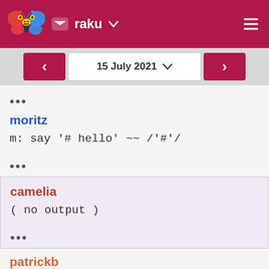raku
15 July 2021
•••
moritz
m: say '# hello' ~~ /'#'/
•••
camelia
( no output )
•••
patrickb